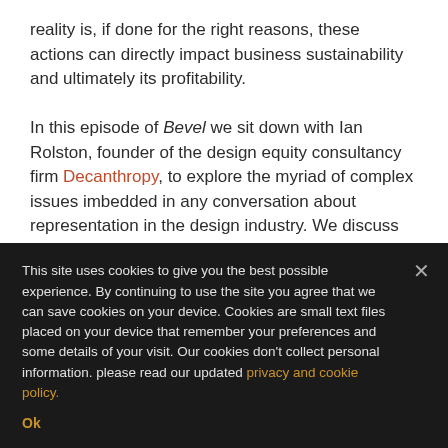reality is, if done for the right reasons, these actions can directly impact business sustainability and ultimately its profitability.
In this episode of Bevel we sit down with Ian Rolston, founder of the design equity consultancy firm Decanthropy, to explore the myriad of complex issues imbedded in any conversation about representation in the design industry. We discuss what must happen to move the needle from talk to action, and zero in on three key areas: design education, professional practice and the role of advocacy.
This site uses cookies to give you the best possible experience. By continuing to use the site you agree that we can save cookies on your device. Cookies are small text files placed on your device that remember your preferences and some details of your visit. Our cookies don't collect personal information. please read our updated privacy and cookie policy.
Ok